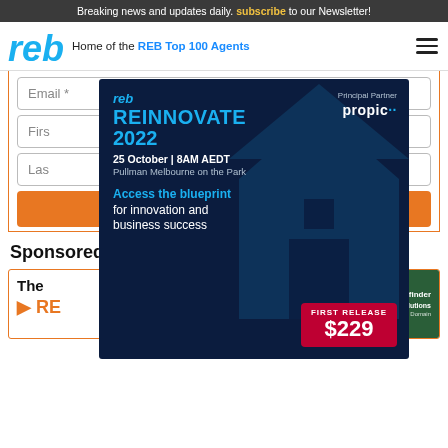Breaking news and updates daily. subscribe to our Newsletter!
[Figure (logo): REB logo and navigation: Home of the REB Top 100 Agents]
Email *
First
Last
[Figure (infographic): REB REINNOVATE 2022 ad banner. Principal Partner: propic. 25 October | 8AM AEDT. Pullman Melbourne on the Park. Access the blueprint for innovation and business success. FIRST RELEASE $229.]
Sponsored Features
[Figure (infographic): Sponsored card: The [text cut off]. Green ad banner: Want to create digital appraisals that will stand out? There's a solution for that. Get Pricefinder. pricefinder Agent Solutions powered by Domain.]